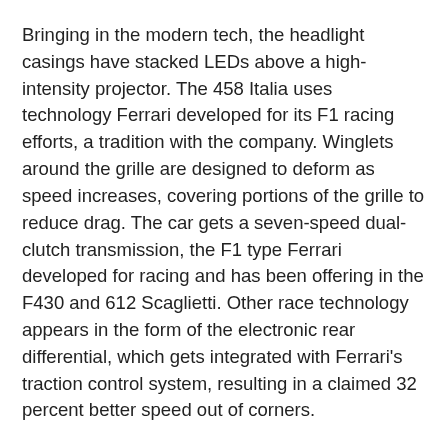Bringing in the modern tech, the headlight casings have stacked LEDs above a high-intensity projector. The 458 Italia uses technology Ferrari developed for its F1 racing efforts, a tradition with the company. Winglets around the grille are designed to deform as speed increases, covering portions of the grille to reduce drag. The car gets a seven-speed dual-clutch transmission, the F1 type Ferrari developed for racing and has been offering in the F430 and 612 Scaglietti. Other race technology appears in the form of the electronic rear differential, which gets integrated with Ferrari's traction control system, resulting in a claimed 32 percent better speed out of corners.
Ferrari says the 458 Italia uses "a new kind of steering wheel and dashboard that is the direct result of racing practice." Ferrari has incorporated a lot of controls on the steering wheel, along with the Manettino, the dial used to select driving style. As with previous Ferraris, the tachometer takes center stage on the instrument cluster, and a new color LCD on the left shows vehicle operating information.
The car also is the only 458 Italia uses...